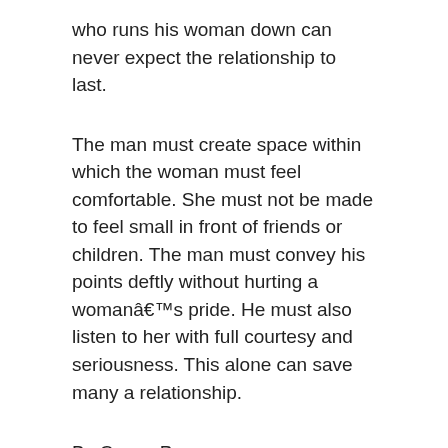who runs his woman down can never expect the relationship to last.
The man must create space within which the woman must feel comfortable. She must not be made to feel small in front of friends or children. The man must convey his points deftly without hurting a womanâ€™s pride. He must also listen to her with full courtesy and seriousness. This alone can save many a relationship.
By Cucan Pemo
Source